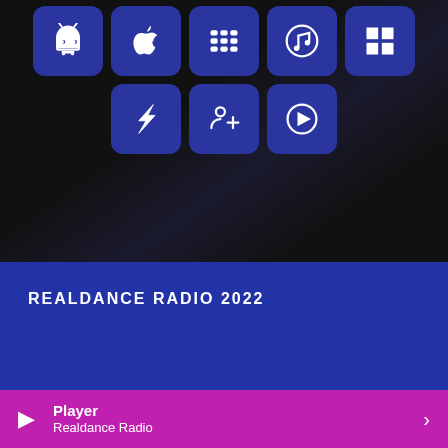[Figure (screenshot): Grid of platform/app icons on dark background: row 1 has Android, Apple, BlackBerry, Music, Windows icons; row 2 has Thunderstruck/lightning, TuneIn, and play-circle icons — all white on dark blue rounded square buttons]
REALDANCE RADIO 2022
[Figure (infographic): Social media icons: SoundCloud and Facebook logos in white on blue background]
Player
Realdance Radio